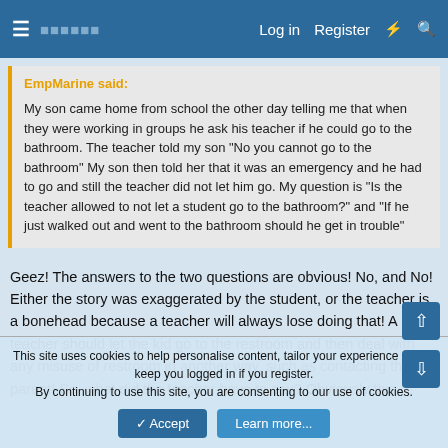Log in  Register
EmpMarine said:
My son came home from school the other day telling me that when they were working in groups he ask his teacher if he could go to the bathroom. The teacher told my son "No you cannot go to the bathroom" My son then told her that it was an emergency and he had to go and still the teacher did not let him go. My question is "Is the teacher allowed to not let a student go to the bathroom?" and "If he just walked out and went to the bathroom should he get in trouble"
Geez! The answers to the two questions are obvious! No, and No! Either the story was exaggerated by the student, or the teacher is a bonehead because a teacher will always lose doing that! A teacher should let the kid go to the restroom and then deal with any misuse of restroom in another way, such as contacting the parent! So, what did the teacher have to say? Obviously this
This site uses cookies to help personalise content, tailor your experience and to keep you logged in if you register.
By continuing to use this site, you are consenting to our use of cookies.